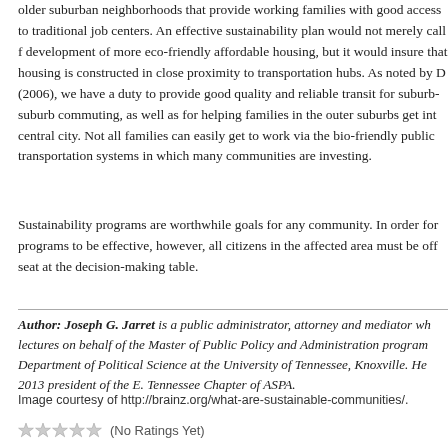older suburban neighborhoods that provide working families with good access to traditional job centers. An effective sustainability plan would not merely call for development of more eco-friendly affordable housing, but it would insure that housing is constructed in close proximity to transportation hubs. As noted by D (2006), we have a duty to provide good quality and reliable transit for suburb-to-suburb commuting, as well as for helping families in the outer suburbs get into the central city. Not all families can easily get to work via the bio-friendly public transportation systems in which many communities are investing.
Sustainability programs are worthwhile goals for any community. In order for programs to be effective, however, all citizens in the affected area must be offered a seat at the decision-making table.
Author: Joseph G. Jarret is a public administrator, attorney and mediator who lectures on behalf of the Master of Public Policy and Administration program in the Department of Political Science at the University of Tennessee, Knoxville. He is the 2013 president of the E. Tennessee Chapter of ASPA.
Image courtesy of http://brainz.org/what-are-sustainable-communities/.
(No Ratings Yet)